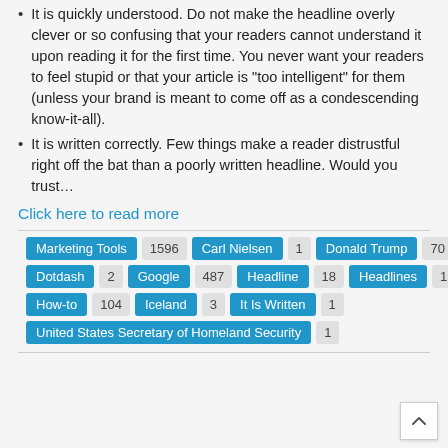It is quickly understood. Do not make the headline overly clever or so confusing that your readers cannot understand it upon reading it for the first time. You never want your readers to feel stupid or that your article is "too intelligent" for them (unless your brand is meant to come off as a condescending know-it-all).
It is written correctly. Few things make a reader distrustful right off the bat than a poorly written headline. Would you trust…
Click here to read more
Marketing Tools 1596  Carl Nielsen 1  Donald Trump 70  Dotdash 2  Google 487  Headline 18  Headlines 1  How-to 104  Iceland 3  It Is Written 1  United States Secretary of Homeland Security 1